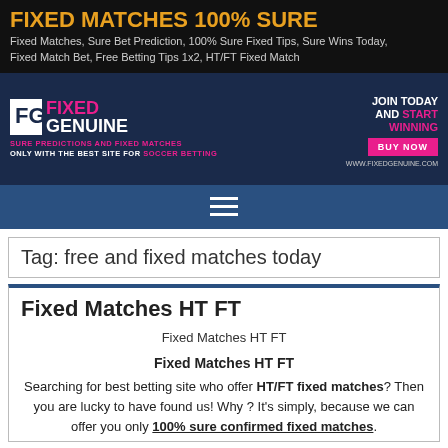FIXED MATCHES 100% SURE
Fixed Matches, Sure Bet Prediction, 100% Sure Fixed Tips, Sure Wins Today, Fixed Match Bet, Free Betting Tips 1x2, HT/FT Fixed Match
[Figure (illustration): Fixed Genuine banner ad with logo, tagline 'SURE PREDICTIONS AND FIXED MATCHES ONLY WITH THE BEST SITE FOR SOCCER BETTING', and 'JOIN TODAY AND START WINNING BUY NOW' call to action. WWW.FIXEDGENUINE.COM]
[Figure (other): Navigation hamburger menu icon (three horizontal white lines) on blue background]
Tag: free and fixed matches today
Fixed Matches HT FT
Fixed Matches HT FT
Fixed Matches HT FT
Searching for best betting site who offer HT/FT fixed matches? Then you are lucky to have found us! Why ? It's simply, because we can offer you only 100% sure confirmed fixed matches.